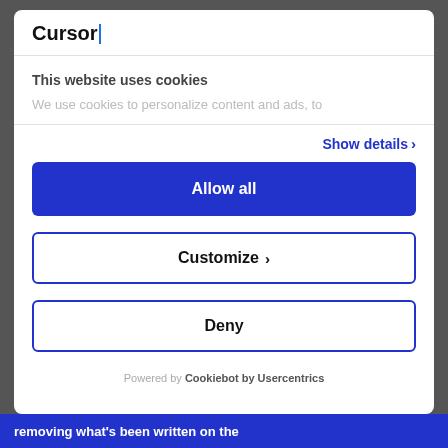Cursor|
This website uses cookies
We use cookies to personalize content and ads, to
Show details ›
Allow all
Customize ›
Deny
Powered by Cookiebot by Usercentrics
removing what's been written on the